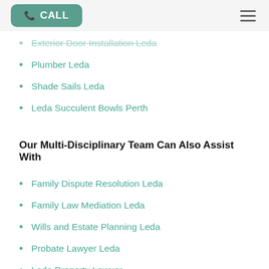CALL
Exterior Door Installation Leda
Plumber Leda
Shade Sails Leda
Leda Succulent Bowls Perth
Our Multi-Disciplinary Team Can Also Assist With
Family Dispute Resolution Leda
Family Law Mediation Leda
Wills and Estate Planning Leda
Probate Lawyer Leda
Leda Property Lawyer